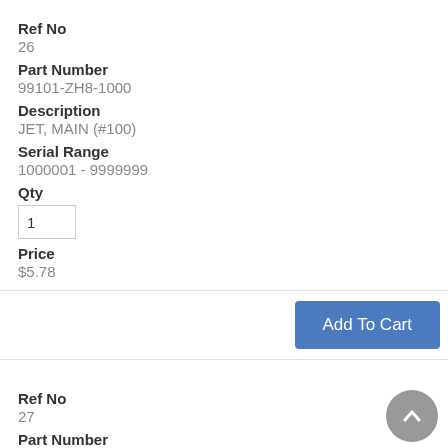Ref No
26
Part Number
99101-ZH8-1000
Description
JET, MAIN (#100)
Serial Range
1000001 - 9999999
Qty
1
Price
$5.78
Add To Cart
Ref No
27
Part Number
99204-ZA0-0450
Description
JET SET, PILOT (#45)